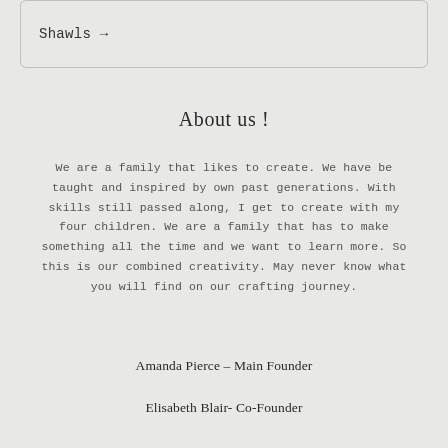Shawls →
About us !
We are a family that likes to create. We have be taught and inspired by own past generations. With skills still passed along, I get to create with my four children. We are a family that has to make something all the time and we want to learn more. So this is our combined creativity. May never know what you will find on our crafting journey.
Amanda Pierce – Main Founder
Elisabeth Blair- Co-Founder